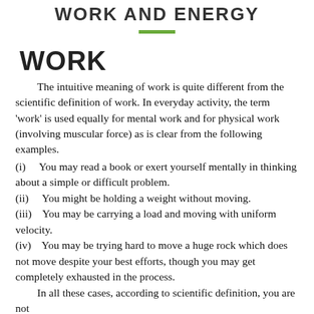WORK AND ENERGY
WORK
The intuitive meaning of work is quite different from the scientific definition of work. In everyday activity, the term 'work' is used equally for mental work and for physical work (involving muscular force) as is clear from the following examples.
(i)    You may read a book or exert yourself mentally in thinking about a simple or difficult problem.
(ii)    You might be holding a weight without moving.
(iii)    You may be carrying a load and moving with uniform velocity.
(iv)    You may be trying hard to move a huge rock which does not move despite your best efforts, though you may get completely exhausted in the process.
In all these cases, according to scientific definition, you are not